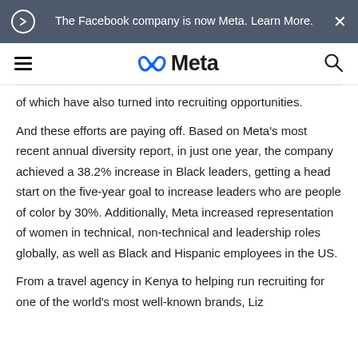The Facebook company is now Meta. Learn More.
[Figure (logo): Meta logo with infinity symbol and 'Meta' text in dark color]
of which have also turned into recruiting opportunities.
And these efforts are paying off. Based on Meta's most recent annual diversity report, in just one year, the company achieved a 38.2% increase in Black leaders, getting a head start on the five-year goal to increase leaders who are people of color by 30%. Additionally, Meta increased representation of women in technical, non-technical and leadership roles globally, as well as Black and Hispanic employees in the US.
From a travel agency in Kenya to helping run recruiting for one of the world's most well-known brands, Liz